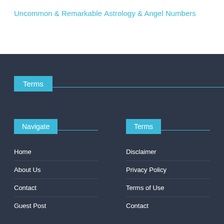Uncommon & Remarkable
Astrology & Angel Numbers
Terms
Navigate
Terms
Home
About Us
Contact
Guest Post
Disclaimer
Privacy Policy
Terms of Use
Contact